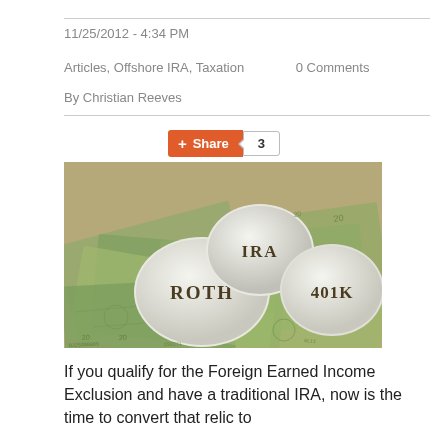11/25/2012 - 4:34 PM
Articles, Offshore IRA, Taxation    0 Comments
By Christian Reeves
[Figure (photo): Three white eggs labeled ROTH, IRA, and 401K sitting on top of a pile of US dollar bills]
If you qualify for the Foreign Earned Income Exclusion and have a traditional IRA, now is the time to convert that relic to